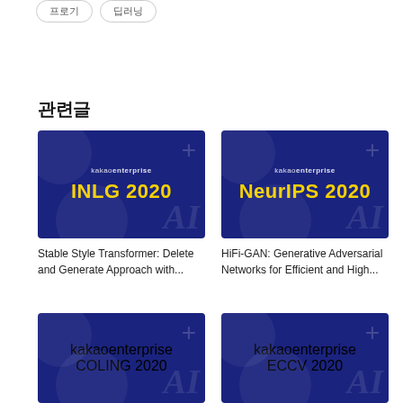프로기
딥러닝
관련글
[Figure (illustration): Kakao Enterprise branded card image with dark navy background showing 'INLG 2020' in yellow text]
Stable Style Transformer: Delete and Generate Approach with...
[Figure (illustration): Kakao Enterprise branded card image with dark navy background showing 'NeurIPS 2020' in yellow text]
HiFi-GAN: Generative Adversarial Networks for Efficient and High...
[Figure (illustration): Kakao Enterprise branded card image with dark navy background showing 'COLING 2020' in yellow text]
[Figure (illustration): Kakao Enterprise branded card image with dark navy background showing 'ECCV 2020' in yellow text]